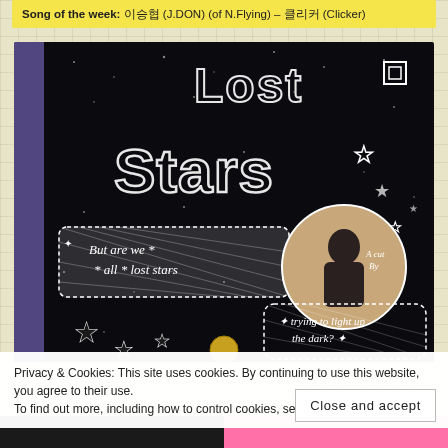Song of the week: 이승협 (J.DON) (of N.Flying) – 클리커 (Clicker)
[Figure (photo): Handmade scrapbook/journal page on dark background reading 'Lost Stars' with handwritten text 'But are we all lost stars' and 'trying to light up the dark?' with star decorations and a circular photo of a person]
Privacy & Cookies: This site uses cookies. By continuing to use this website, you agree to their use.
To find out more, including how to control cookies, see here: Cookie Policy
Close and accept